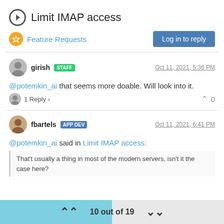Limit IMAP access
Feature Requests
Log in to reply
girish STAFF Oct 11, 2021, 5:36 PM
@potemkin_ai that seems more doable. Will look into it.
1 Reply > 0
fbartels APP DEV Oct 11, 2021, 6:41 PM
@potemkin_ai said in Limit IMAP access:
That't usually a thing in most of the modern servers, isn't it the case here?
10 out of 19